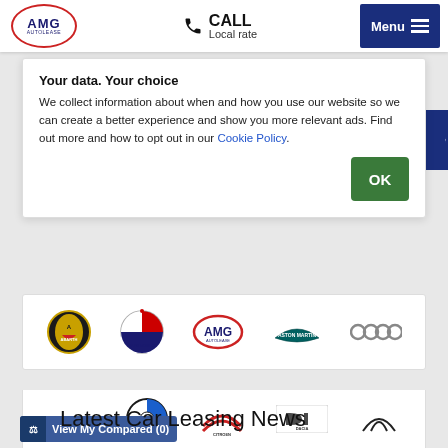AMG AUTOLEASE — CALL Local rate — Menu
Your data. Your choice
We collect information about when and how you use our website so we can create a better experience and show you more relevant ads. Find out more and how to opt out in our Cookie Policy.
[Figure (logo): Car brand logos row: Abarth, Alfa Romeo, AMG Autolease, Aston Martin, Audi]
[Figure (logo): Partial second row of brand logos: Bentley, BMW, Citroën, Dacia, and one more]
View My Compared (0)
Latest Car Leasing News